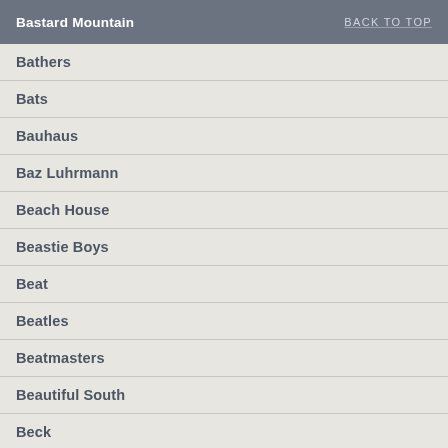Bastard Mountain | BACK TO TOP
Bathers
Bats
Bauhaus
Baz Luhrmann
Beach House
Beastie Boys
Beat
Beatles
Beatmasters
Beautiful South
Beck
Belle & Sebastian